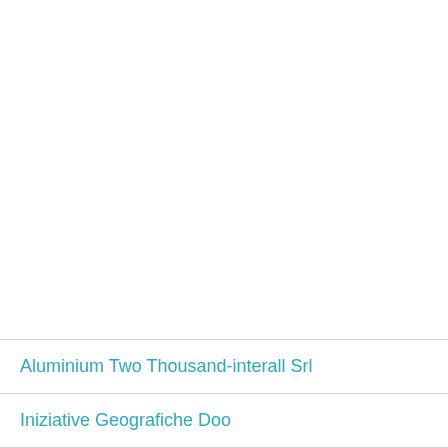Aluminium Two Thousand-interall Srl
Iniziative Geografiche Doo